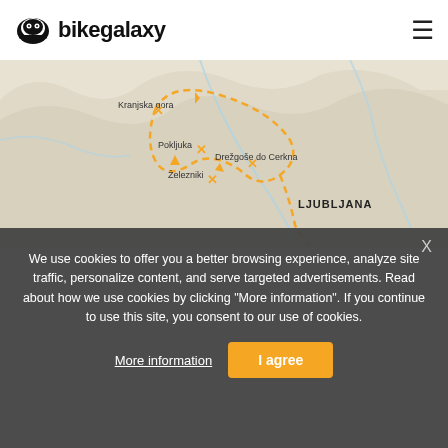[Figure (screenshot): Bikegalaxy website header with logo (helmet icon + bikegalaxy text) and hamburger menu icon on white bar]
[Figure (map): Map of Slovenia region showing a cycling route with dashed orange lines connecting waypoints: Kranjska gora, Pokljuka, Drežgoše do Cerkna, Železniki, with LJUBLJANA labeled in bold. Orange X markers at each waypoint. Route forms a loop.]
We use cookies to offer you a better browsing experience, analyze site traffic, personalize content, and serve targeted advertisements. Read about how we use cookies by clicking "More information". If you continue to use this site, you consent to our use of cookies.
More information
I agree